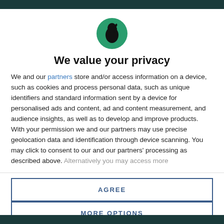[Figure (logo): Circular green logo with a black silhouette of a person/crow facing right]
We value your privacy
We and our partners store and/or access information on a device, such as cookies and process personal data, such as unique identifiers and standard information sent by a device for personalised ads and content, ad and content measurement, and audience insights, as well as to develop and improve products. With your permission we and our partners may use precise geolocation data and identification through device scanning. You may click to consent to our and our partners' processing as described above. Alternatively you may access more
AGREE
MORE OPTIONS